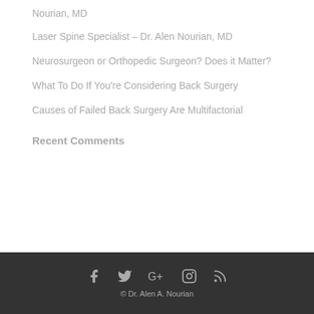Nourian, MD
Laser Spine Specialist – Dr. Alen Nourian, MD
Neurosurgeon or Orthopedic Surgeon? Does it Matter?
What To Do If You're Considering Back Surgery
Causes of Failed Back Surgery Are Multifactorial
Recent Comments
© Dr. Alen A. Nourian